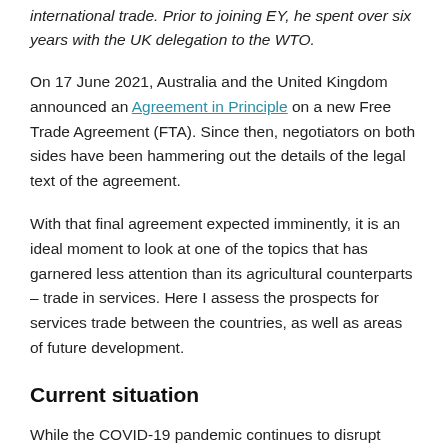international trade. Prior to joining EY, he spent over six years with the UK delegation to the WTO.
On 17 June 2021, Australia and the United Kingdom announced an Agreement in Principle on a new Free Trade Agreement (FTA). Since then, negotiators on both sides have been hammering out the details of the legal text of the agreement.
With that final agreement expected imminently, it is an ideal moment to look at one of the topics that has garnered less attention than its agricultural counterparts – trade in services. Here I assess the prospects for services trade between the countries, as well as areas of future development.
Current situation
While the COVID-19 pandemic continues to disrupt global trade, prior to the pandemic the amount of services trade